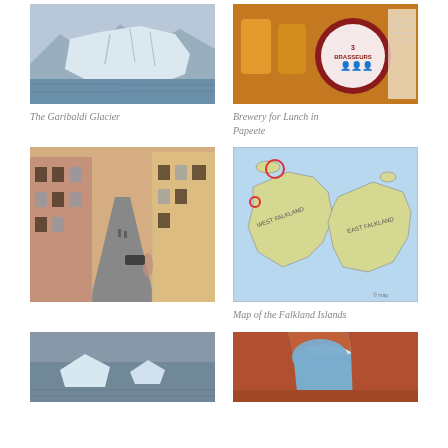[Figure (photo): The Garibaldi Glacier — a large glacier face with snow and ice descending to a body of water, mountains in background]
The Garibaldi Glacier
[Figure (photo): Brewery for Lunch in Papeete — close-up of beer glasses and a brewery label reading '3 Brasseurs']
Brewery for Lunch in Papeete
[Figure (photo): A narrow European street with tall colourful buildings on both sides, pedestrians and a car in the distance]
[Figure (map): Map of the Falkland Islands showing West Falkland and East Falkland with a red circle marker]
Map of the Falkland Islands
[Figure (photo): Icebergs floating on calm dark water]
[Figure (photo): A red rock arch (desert landscape) framing a blue sky, likely Delicate Arch or similar in the American Southwest]